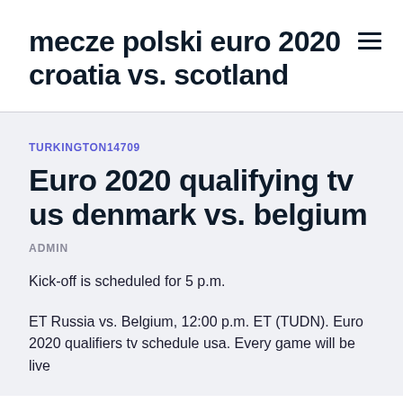mecze polski euro 2020 croatia vs. scotland
TURKINGTON14709
Euro 2020 qualifying tv us denmark vs. belgium
ADMIN
Kick-off is scheduled for 5 p.m.
ET Russia vs. Belgium, 12:00 p.m. ET (TUDN). Euro 2020 qualifiers tv schedule usa. Every game will be live